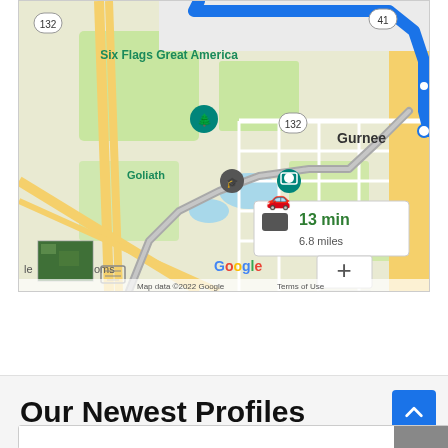[Figure (map): Google Maps screenshot showing driving directions near Six Flags Great America in Gurnee, IL. Blue route along highway 41, gray route through local roads. Shows 13 min travel time, 6.8 miles. Map labels include Six Flags Great America, Goliath, Gurnee, Washington St, Route 132, Route 41. Zoom controls (+/-) visible. Map data ©2022 Google, Terms of Use shown at bottom.]
Our Newest Profiles